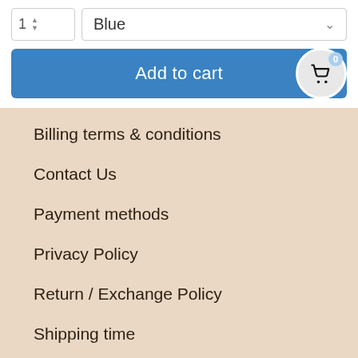[Figure (screenshot): Quantity selector showing '1' with up/down arrows]
[Figure (screenshot): Color dropdown selector showing 'Blue' with chevron]
[Figure (screenshot): Blue 'Add to cart' button with shopping cart icon badge showing 0]
Billing terms & conditions
Contact Us
Payment methods
Privacy Policy
Return / Exchange Policy
Shipping time
Intellectual Property Rights